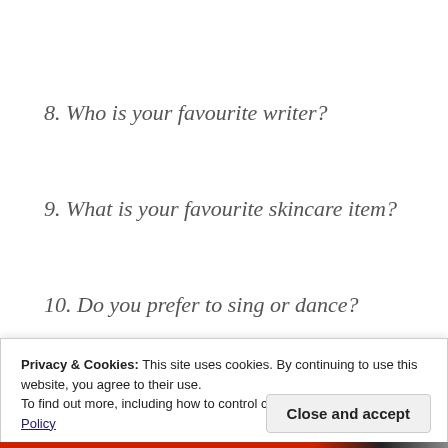8. Who is your favourite writer?
9. What is your favourite skincare item?
10. Do you prefer to sing or dance?
Privacy & Cookies: This site uses cookies. By continuing to use this website, you agree to their use.
To find out more, including how to control cookies, see here: Cookie Policy
Close and accept